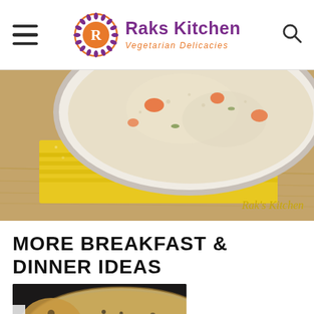Raks Kitchen – Vegetarian Delicacies
[Figure (photo): Close-up photo of a white bowl of khichdi/porridge with orange carrot pieces, placed on a folded yellow kitchen cloth on a wooden surface. Watermark 'Rak's Kitchen' in yellow text at bottom right.]
MORE BREAKFAST & DINNER IDEAS
[Figure (photo): Close-up photo of a dosa (crispy South Indian crepe) on a dark pan surface, showing bubbly texture.]